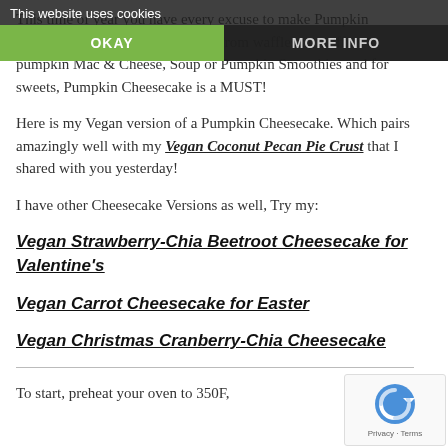This website uses cookies | OKAY | MORE INFO
This time of year you have every excuse to make Pumpkin Everything! Which I literally do. From waffles or muffins to pumpkin Mac & Cheese, Soup or Pumpkin Smoothies and for sweets, Pumpkin Cheesecake is a MUST!
Here is my Vegan version of a Pumpkin Cheesecake. Which pairs amazingly well with my Vegan Coconut Pecan Pie Crust that I shared with you yesterday!
I have other Cheesecake Versions as well, Try my:
Vegan Strawberry-Chia Beetroot Cheesecake for Valentine's
Vegan Carrot Cheesecake for Easter
Vegan Christmas Cranberry-Chia Cheesecake
To start, preheat your oven to 350F,